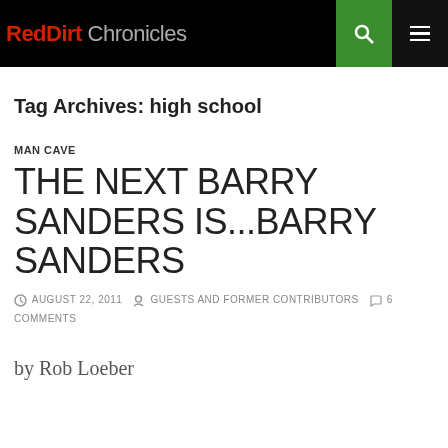RedDirt Chronicles
Tag Archives: high school
MAN CAVE
THE NEXT BARRY SANDERS IS...BARRY SANDERS
AUGUST 22, 2011  GUESTS AND FORMER CONTRIBUTORS  6 COMMENTS
by Rob Loeber